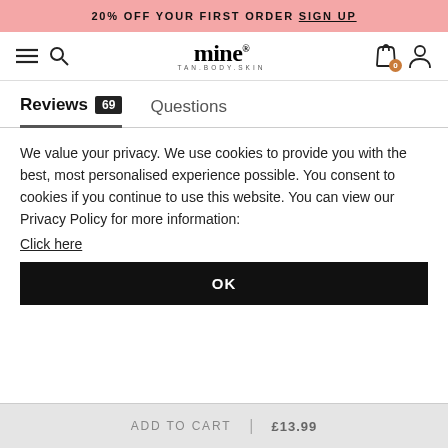20% OFF YOUR FIRST ORDER SIGN UP
[Figure (screenshot): Mine Tan Body Skin logo with navigation icons: hamburger menu, search, shopping bag with badge 0, user icon]
Reviews 69  Questions
We value your privacy. We use cookies to provide you with the best, most personalised experience possible. You consent to cookies if you continue to use this website. You can view our Privacy Policy for more information:
Click here
OK
ADD TO CART | £13.99